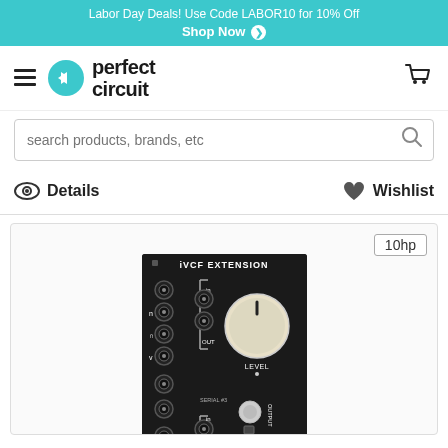Labor Day Deals! Use Code LABOR10 for 10% Off Shop Now
[Figure (logo): Perfect Circuit logo with teal arrow icon and bold black text]
search products, brands, etc
Details   Wishlist
[Figure (photo): IVCF Extension Eurorack module, black panel, 10hp, showing knobs, jacks, and controls including LEVEL knob and SERIAL number. Label reads iVCF EXTENSION.]